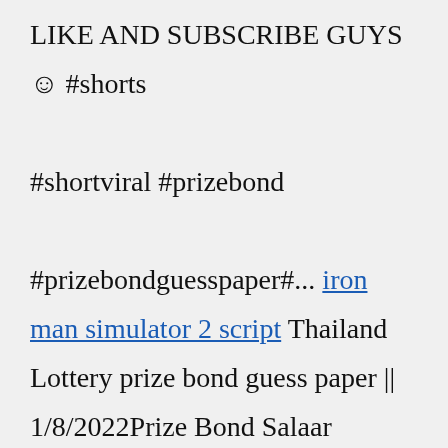LIKE AND SUBSCRIBE GUYS ☺ #shorts #shortviral #prizebond #prizebondguesspaper#... iron man simulator 2 script Thailand Lottery prize bond guess paper || 1/8/2022Prize Bond Salaar Ahmed|MUST LIKE AND SUBSCRIBE GUYS ☺ #prizebond #prizebondguesspaper#prizebond750 #pr... Prize Bond Guess Papers 2022 original Guess Papers 2022 Prize Bond Guess Papers the original guess paper station of the